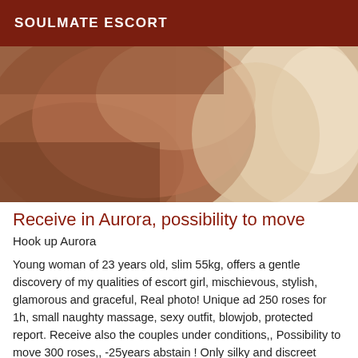SOULMATE ESCORT
[Figure (photo): Close-up photo of a person's shoulder and upper body, warm skin tones with beige/cream background on the right side]
Receive in Aurora, possibility to move
Hook up Aurora
Young woman of 23 years old, slim 55kg, offers a gentle discovery of my qualities of escort girl, mischievous, stylish, glamorous and graceful, Real photo! Unique ad 250 roses for 1h, small naughty massage, sexy outfit, blowjob, protected report. Receive also the couples under conditions,, Possibility to move 300 roses,, -25years abstain ! Only silky and discreet man... First